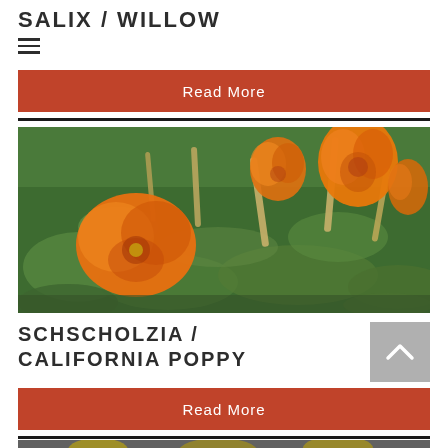SALIX / WILLOW
[Figure (other): Red/orange button with white text 'Read More']
[Figure (photo): Photograph of California poppies (Eschscholzia californica) with bright orange flowers and green feathery foliage]
SCHSCHOLZIA / CALIFORNIA POPPY
[Figure (other): Gray square back-to-top button with upward chevron arrow]
[Figure (other): Red/orange button with white text 'Read More']
[Figure (photo): Partial view of yellow flowers at bottom of page]